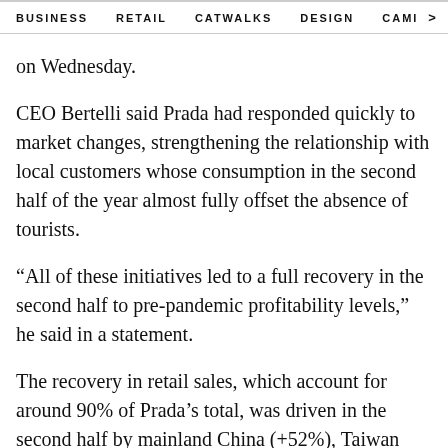BUSINESS  RETAIL  CATWALKS  DESIGN  CAMI  >
on Wednesday.
CEO Bertelli said Prada had responded quickly to market changes, strengthening the relationship with local customers whose consumption in the second half of the year almost fully offset the absence of tourists.
“All of these initiatives led to a full recovery in the second half to pre-pandemic profitability levels,” he said in a statement.
The recovery in retail sales, which account for around 90% of Prada’s total, was driven in the second half by mainland China (+52%), Taiwan (+61%), Korea (+22%) and also by the Americas (+4%), Japan and Europe